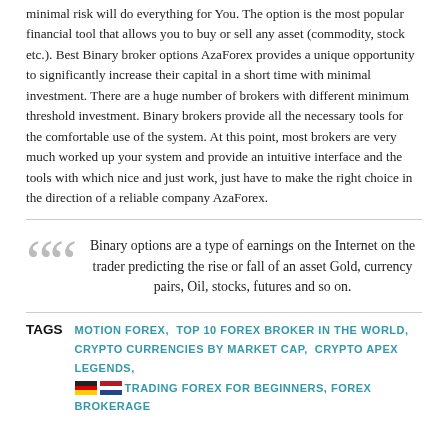minimal risk will do everything for You. The option is the most popular financial tool that allows you to buy or sell any asset (commodity, stock etc.). Best Binary broker options AzaForex provides a unique opportunity to significantly increase their capital in a short time with minimal investment. There are a huge number of brokers with different minimum threshold investment. Binary brokers provide all the necessary tools for the comfortable use of the system. At this point, most brokers are very much worked up your system and provide an intuitive interface and the tools with which nice and just work, just have to make the right choice in the direction of a reliable company AzaForex.
Binary options are a type of earnings on the Internet on the trader predicting the rise or fall of an asset Gold, currency pairs, Oil, stocks, futures and so on.
TAGS  MOTION FOREX, TOP 10 FOREX BROKER IN THE WORLD, CRYPTO CURRENCIES BY MARKET CAP, CRYPTO APEX LEGENDS, TRADING FOREX FOR BEGINNERS, FOREX BROKERAGE